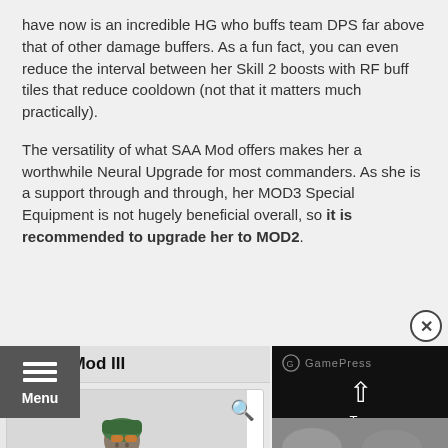have now is an incredible HG who buffs team DPS far above that of other damage buffers. As a fun fact, you can even reduce the interval between her Skill 2 boosts with RF buff tiles that reduce cooldown (not that it matters much practically).
The versatility of what SAA Mod offers makes her a worthwhile Neural Upgrade for most commanders. As she is a support through and through, her MOD3 Special Equipment is not hugely beneficial overall, so it is recommended to upgrade her to MOD2.
Gr G11 Mod III
[Figure (illustration): Character illustration of Gr G11 Mod III in tactical gear with green outfit and equipment]